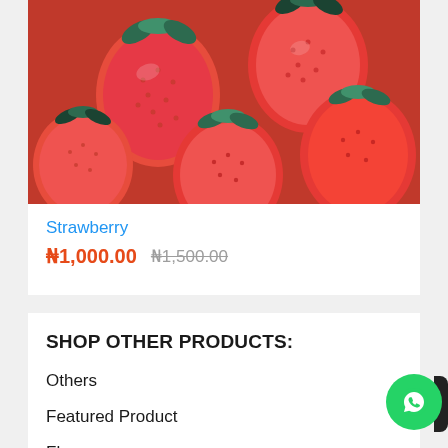[Figure (photo): Close-up photo of red strawberries with green leaves]
Strawberry
₦1,000.00  ₦1,500.00
SHOP OTHER PRODUCTS:
Others
Featured Product
Flour